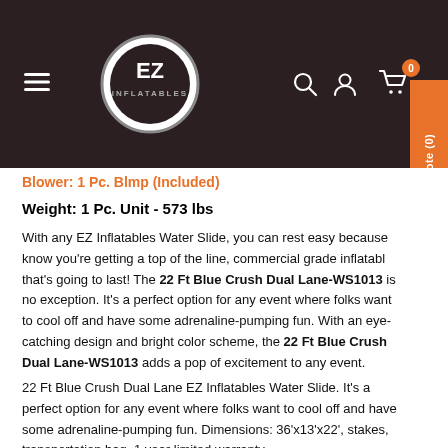EZ Inflatables — navigation header with logo, search, account, cart (0), View Quote (0)
Blower: 1 Pc. Blmp (Included)
Weight: 1 Pc. Unit - 573 lbs
With any EZ Inflatables Water Slide, you can rest easy because know you're getting a top of the line, commercial grade inflatable that's going to last! The 22 Ft Blue Crush Dual Lane-WS1013 is no exception. It's a perfect option for any event where folks want to cool off and have some adrenaline-pumping fun. With an eye-catching design and bright color scheme, the 22 Ft Blue Crush Dual Lane-WS1013 adds a pop of excitement to any event.
22 Ft Blue Crush Dual Lane EZ Inflatables Water Slide. It's a perfect option for any event where folks want to cool off and have some adrenaline-pumping fun. Dimensions: 36'x13'x22', stakes, transportation bag. 1 year limited warranty